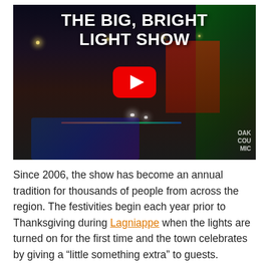[Figure (screenshot): A YouTube video thumbnail showing a night street scene with holiday lights. Title text overlay reads 'THE BIG, BRIGHT LIGHT SHOW'. A red YouTube play button is centered. Buildings on the right are lit in green and red holiday lights. Cars are visible on the street. An 'OAK COUNTY MICH' watermark appears in the lower right.]
Since 2006, the show has become an annual tradition for thousands of people from across the region. The festivities begin each year prior to Thanksgiving during Lagniappe when the lights are turned on for the first time and the town celebrates by giving a "little something extra" to guests.